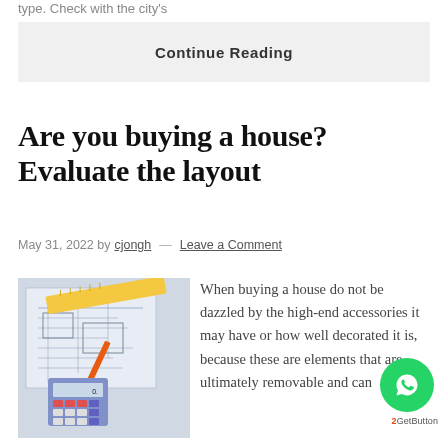type. Check with the city's
Continue Reading
Are you buying a house? Evaluate the layout
May 31, 2022 by cjongh — Leave a Comment
[Figure (photo): Blueprint plans with a ruler, pencil, and calculator on a desk]
When buying a house do not be dazzled by the high-end accessories it may have or how well decorated it is, because these are elements that are ultimately removable and can